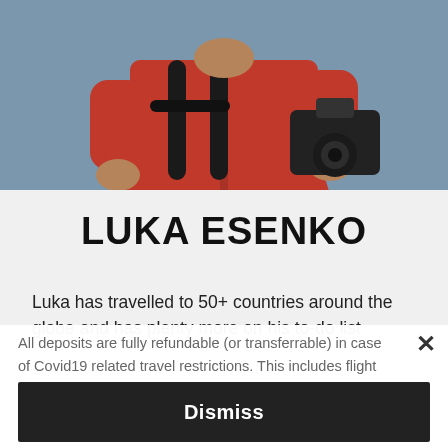[Figure (photo): Person in red jacket with backpack holding a camera, against a blue-grey background, photo cropped to show torso and hands only]
LUKA ESENKO
Luka has travelled to 50+ countries around the globe and has plenty more on his to-do list
All deposits are fully refundable (or transferrable) in case of Covid19 related travel restrictions. This includes flight cancellations, border closings and other measures that prevent your travel.
Dismiss